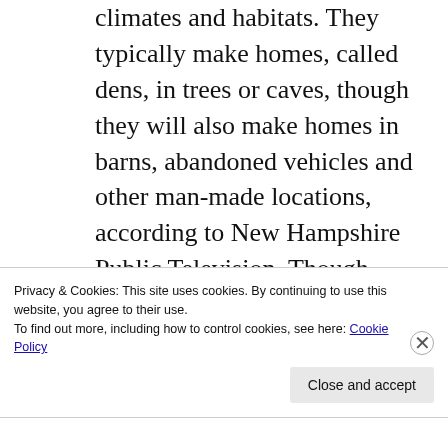climates and habitats. They typically make homes, called dens, in trees or caves, though they will also make homes in barns, abandoned vehicles and other man-made locations, according to New Hampshire Public Television. Though raccoons are more than happy to make human areas their homes, they can be vicious when
Privacy & Cookies: This site uses cookies. By continuing to use this website, you agree to their use.
To find out more, including how to control cookies, see here: Cookie Policy
Close and accept